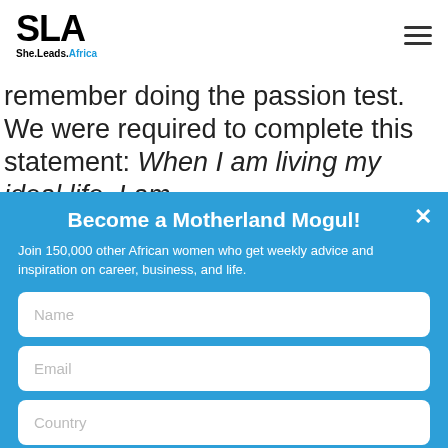SLA She.Leads.Africa
remember doing the passion test. We were required to complete this statement: When I am living my ideal life, I am...
Become a Motherland Mogul!
Join 150,000 other African women who get weekly advice and inspiration on career, business, and life.
Name
Email
Country
YES, I'M IN!